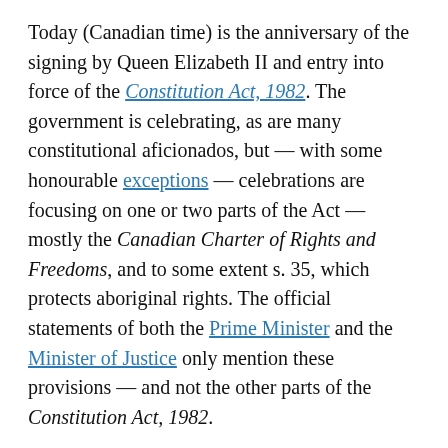Today (Canadian time) is the anniversary of the signing by Queen Elizabeth II and entry into force of the Constitution Act, 1982. The government is celebrating, as are many constitutional aficionados, but — with some honourable exceptions — celebrations are focusing on one or two parts of the Act — mostly the Canadian Charter of Rights and Freedoms, and to some extent s. 35, which protects aboriginal rights. The official statements of both the Prime Minister and the Minister of Justice only mention these provisions — and not the other parts of the Constitution Act, 1982.

The tendency to play favourites with the